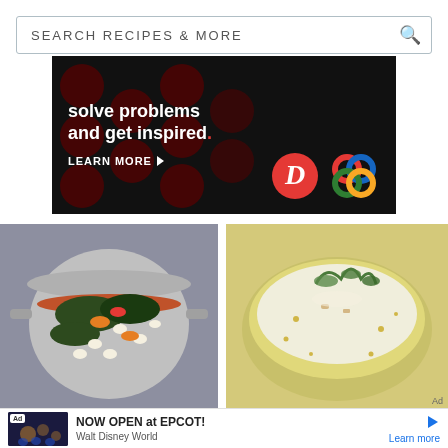[Figure (screenshot): Search bar with text SEARCH RECIPES & MORE and a magnifying glass icon on the right]
[Figure (illustration): Advertisement banner with black background, dark red polka dots. Text: solve problems and get inspired. LEARN MORE with arrow. Two logos: D in red circle, colorful flower/knot logo.]
[Figure (photo): Overhead photo of a stew or minestrone soup in a silver pot with kale, white beans, carrots and other vegetables]
[Figure (photo): Cream soup in a yellow-green bowl garnished with fresh herbs and drizzle of oil]
Ad
[Figure (screenshot): Bottom ad bar: Ad badge, dark thumbnail image of people, text NOW OPEN at EPCOT! Walt Disney World, Learn more link, and play icon]